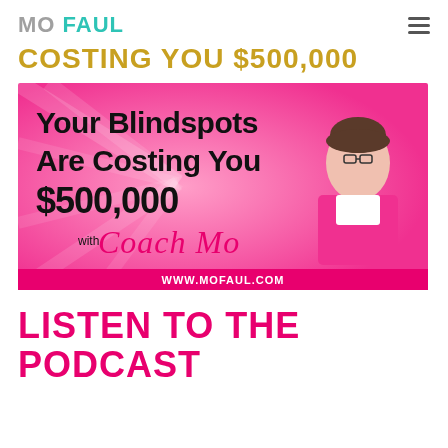MO FAUL
COSTING YOU $500,000
[Figure (illustration): Pink podcast banner image with text 'Your Blindspots Are Costing You $500,000 with Coach Mo' and a woman in a pink blazer on the right. Website URL www.mofaul.com shown at bottom.]
LISTEN TO THE PODCAST